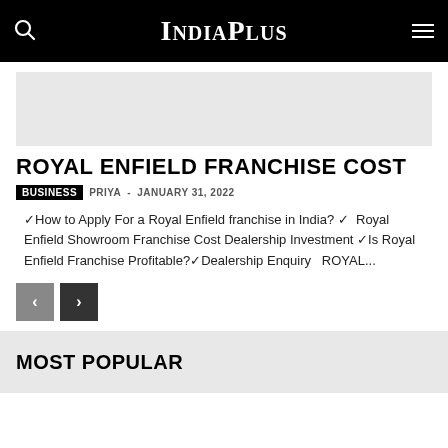IndiaPlus
[Figure (other): Advertisement placeholder / banner image area (light gray rectangle)]
ROYAL ENFIELD FRANCHISE COST
BUSINESS  PRIYA  -  JANUARY 31, 2022
✓How to Apply For a Royal Enfield franchise in India? ✓ Royal Enfield Showroom Franchise Cost Dealership Investment ✓Is Royal Enfield Franchise Profitable?✓Dealership Enquiry  ROYAL...
MOST POPULAR